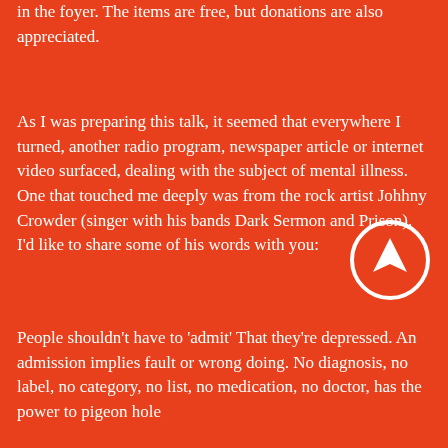in the foyer. The items are free, but donations are also appreciated.
As I was preparing this talk, it seemed that everywhere I turned, another radio program, newspaper article or internet video surfaced, dealing with the subject of mental illness. One that touched me deeply was from the rock artist Johhny Crowder (singer with his bands Dark Sermon and Prison). I'd like to share some of his words with you:
People shouldn't have to 'admit' That they're depressed. An admission implies fault or wrong doing. No diagnosis, no label, no category, no list, no medication, no doctor, has the power to pigeon hole